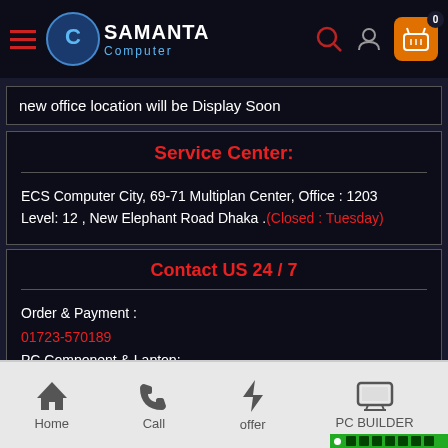Samanta Computer - Header with logo, search, user, and cart icons
new office location will be Display Soon
Service Center:
ECS Computer City, 69-71 Multiplan Center, Office : 1203 Level: 12 , New Elephant Road Dhaka .(Closed : Tuesday)
Contact US 24 / 7
Order & Payment : 01723-570189 PC Component & Laptop:
Home | Call | offer | PC BUILDER